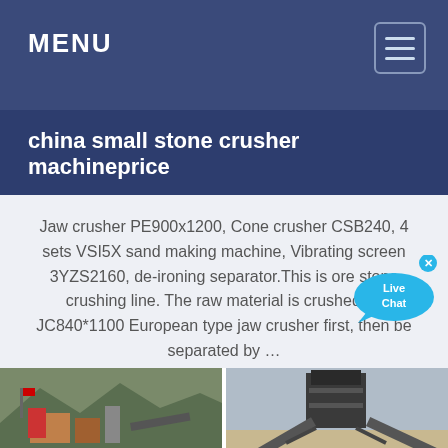MENU
china small stone crusher machineprice
Jaw crusher PE900x1200, Cone crusher CSB240, 4 sets VSI5X sand making machine, Vibrating screen 3YZS2160, de-ironing separator.This is ore stone crushing line. The raw material is crushed by JC840*1100 European type jaw crusher first, then be separated by …
[Figure (photo): Two photos of stone crushing plant facilities side by side. Left image shows an outdoor crushing facility with equipment and mountains in the background. Right image shows a large industrial crusher machine outdoors.]